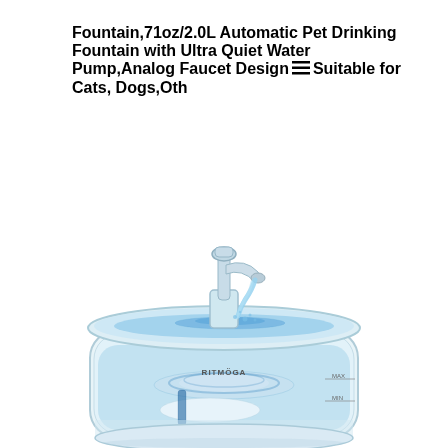Fountain,71oz/2.0L Automatic Pet Drinking Fountain with Ultra Quiet Water Pump,Analog Faucet Design≡Suitable for Cats, Dogs,Oth
[Figure (photo): A clear transparent pet drinking water fountain with a faucet-style spout on top, water flowing and splashing, with a filter visible inside the transparent container. The brand name RITMÖGA and MAX water level line are visible on the container.]